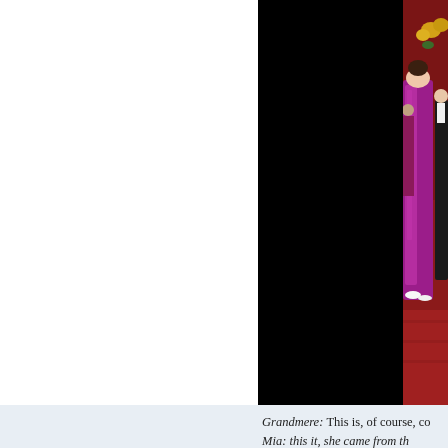[Figure (photo): Photo showing people in formal wear on a red carpet. Right portion shows a woman in a magenta/purple gown and a man in a tuxedo; left portion is black. Background has red curtain and yellow flowers.]
Mariah Carey
Grandmere: This is, of course, co...
Mia: this is it, she came from th...